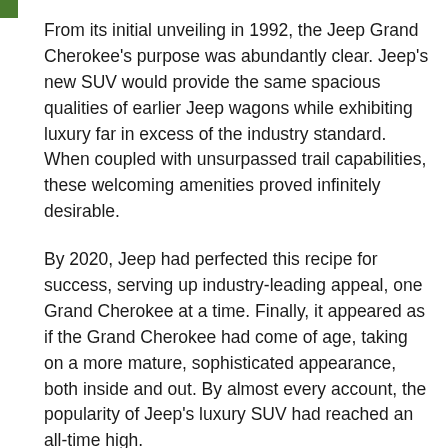From its initial unveiling in 1992, the Jeep Grand Cherokee's purpose was abundantly clear. Jeep's new SUV would provide the same spacious qualities of earlier Jeep wagons while exhibiting luxury far in excess of the industry standard. When coupled with unsurpassed trail capabilities, these welcoming amenities proved infinitely desirable.
By 2020, Jeep had perfected this recipe for success, serving up industry-leading appeal, one Grand Cherokee at a time. Finally, it appeared as if the Grand Cherokee had come of age, taking on a more mature, sophisticated appearance, both inside and out. By almost every account, the popularity of Jeep's luxury SUV had reached an all-time high.
The End Of An Era